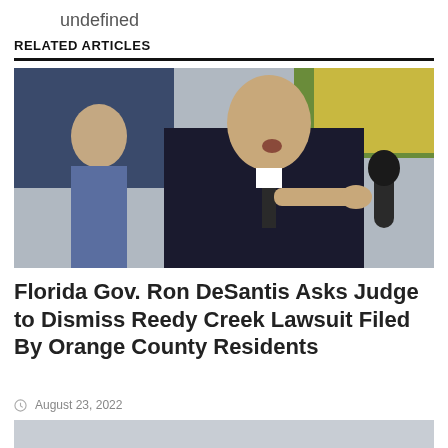undefined
RELATED ARTICLES
[Figure (photo): Florida Governor Ron DeSantis speaking at a podium, pointing his finger, wearing a dark suit and tie. Another man visible in the background.]
Florida Gov. Ron DeSantis Asks Judge to Dismiss Reedy Creek Lawsuit Filed By Orange County Residents
August 23, 2022
[Figure (photo): Partial image of a second article photo visible at the bottom, appears to show an outdoor scene.]